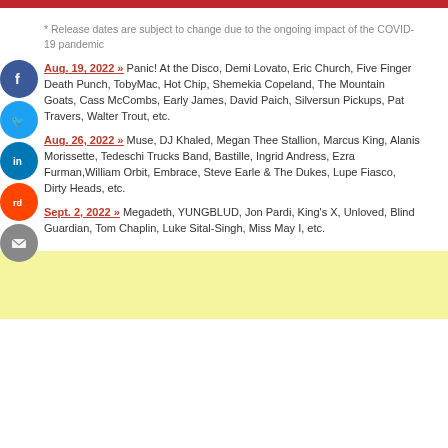* Release dates are subject to change due to the ongoing impact of the COVID-19 pandemic
Aug. 19, 2022 » Panic! At the Disco, Demi Lovato, Eric Church, Five Finger Death Punch, TobyMac, Hot Chip, Shemekia Copeland, The Mountain Goats, Cass McCombs, Early James, David Paich, Silversun Pickups, Pat Travers, Walter Trout, etc.
Aug. 26, 2022 » Muse, DJ Khaled, Megan Thee Stallion, Marcus King, Alanis Morissette, Tedeschi Trucks Band, Bastille, Ingrid Andress, Ezra Furman, William Orbit, Embrace, Steve Earle & The Dukes, Lupe Fiasco, Dirty Heads, etc.
Sept. 2, 2022 » Megadeth, YUNGBLUD, Jon Pardi, King's X, Unloved, Blind Guardian, Tom Chaplin, Luke Sital-Singh, Miss May I, etc.